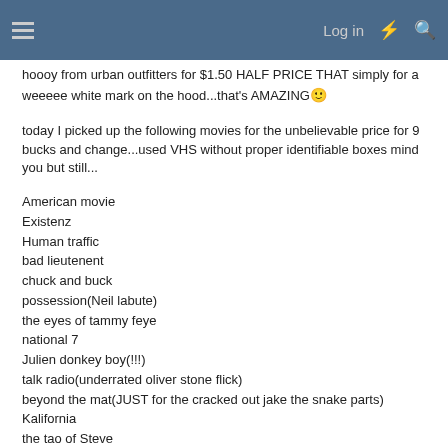Log in
hoooy from urban outfitters for $1.50 HALF PRICE THAT simply for a weeeee white mark on the hood...that's AMAZING 🙂
today I picked up the following movies for the unbelievable price for 9 bucks and change...used VHS without proper identifiable boxes mind you but still...
American movie
Existenz
Human traffic
bad lieutenent
chuck and buck
possession(Neil labute)
the eyes of tammy feye
national 7
Julien donkey boy(!!!)
talk radio(underrated oliver stone flick)
beyond the mat(JUST for the cracked out jake the snake parts)
Kalifornia
the tao of Steve